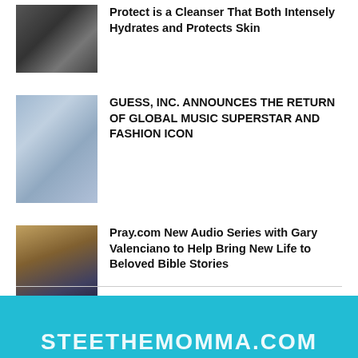[Figure (photo): Thumbnail image of a dark industrial/studio scene]
Protect is a Cleanser That Both Intensely Hydrates and Protects Skin
[Figure (photo): Thumbnail image of denim/fashion scene with people in background]
GUESS, INC. ANNOUNCES THE RETURN OF GLOBAL MUSIC SUPERSTAR AND FASHION ICON
[Figure (photo): Thumbnail image of Joseph movie/audio series cover with Gary Valenciano]
Pray.com New Audio Series with Gary Valenciano to Help Bring New Life to Beloved Bible Stories
STEETHEMOMMA.COM